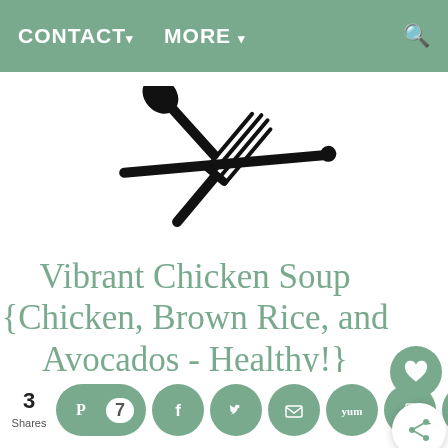CONTACT▾   MORE ▾
[Figure (logo): Crossed fork and spoon/knife utensils silhouette logo in black]
Vibrant Chicken Soup {Chicken, Brown Rice, and Avocados - Healthy!}
3 Shares
[Figure (infographic): Social sharing bar with Pinterest (7), Facebook, Twitter, Email, Yummly, print, and RSS circle icon buttons in sage green]